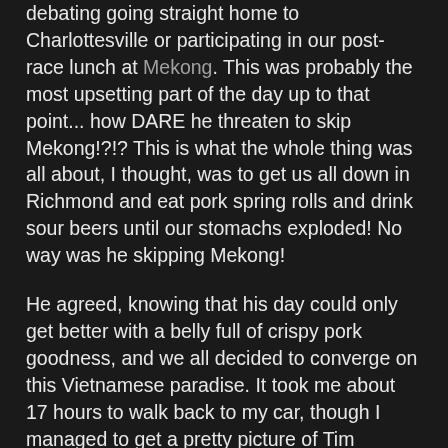debating going straight home to Charlottesville or participating in our post-race lunch at Mekong. This was probably the most upsetting part of the day up to that point... how DARE he threaten to skip Mekong!?!? This is what the whole thing was all about, I thought, was to get us all down in Richmond and eat pork spring rolls and drink sour beers until our stomachs exploded! No way was he skipping Mekong!
He agreed, knowing that his day could only get better with a belly full of crispy pork goodness, and we all decided to converge on this Vietnamese paradise. It took me about 17 hours to walk back to my car, though I managed to get a pretty picture of Tim Kaine's old house to commemorate my trip to the State's capital. Alec kept calling and texting, as he was getting cold and impatient, fearing that his child might explode at any moment. But hey, I wasn't the one who'd changed the plan and skipped out on our meet-up at Brown's Island. No sympathy here, pal! I shared my location with him so that he'd know where I was relative to arriving, but I sort of forgot that his phone was in his bag, which was with Matt... oops. He texted me as I entered the parking lot asking for my ETA. 10 seconds. Also. Calm down.